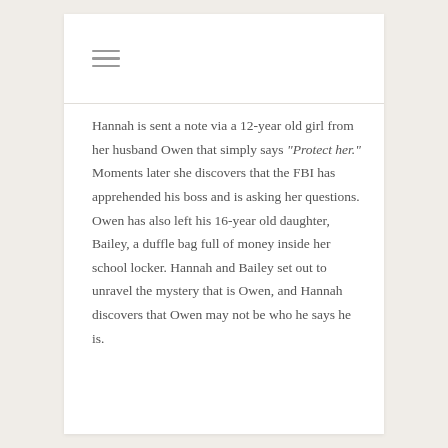☰
Hannah is sent a note via a 12-year old girl from her husband Owen that simply says “Protect her.” Moments later she discovers that the FBI has apprehended his boss and is asking her questions. Owen has also left his 16-year old daughter, Bailey, a duffle bag full of money inside her school locker. Hannah and Bailey set out to unravel the mystery that is Owen, and Hannah discovers that Owen may not be who he says he is.